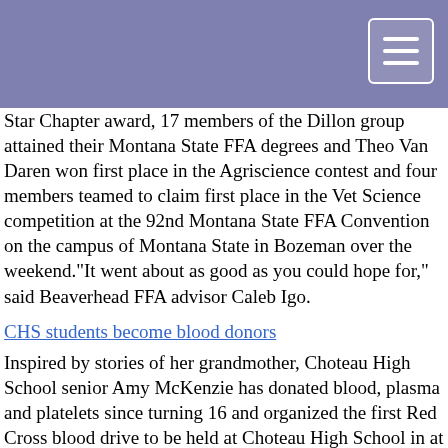Star Chapter award, 17 members of the Dillon group attained their Montana State FFA degrees and Theo Van Daren won first place in the Agriscience contest and four members teamed to claim first place in the Vet Science competition at the 92nd Montana State FFA Convention on the campus of Montana State in Bozeman over the weekend."It went about as good as you could hope for," said Beaverhead FFA advisor Caleb Igo.
CHS students become blood donors
Inspired by stories of her grandmother, Choteau High School senior Amy McKenzie has donated blood, plasma and platelets since turning 16 and organized the first Red Cross blood drive to be held at Choteau High School in at least 10 years. McKenzie never met her parental grandmother LaDonna McKenzie from Lewistown but heard plenty of stories of her donating blood over her lifetime. "I don't recall how much she donated but it was a crazy amount," McKenzie said. "She died before I was born but my dad told stories about her and she became a role model to me." The daughter of Larry McKenzie and Jannie Munoz, McKenzie began donating as soon as she was eligible. The March 26 blood drive at the school was the eighth time she has donated. She also do-nates plasma and platelets in Great Falls as often as possible. With